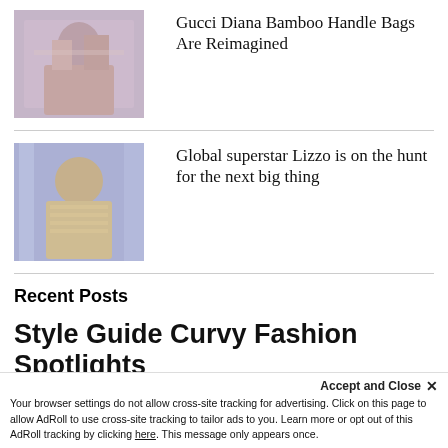[Figure (photo): Person holding a Gucci bag, muted floral background]
Gucci Diana Bamboo Handle Bags Are Reimagined
[Figure (photo): Lizzo on stage in a gold outfit with purple background]
Global superstar Lizzo is on the hunt for the next big thing
Recent Posts
Style Guide Curvy Fashion Spotlights
Accept and Close ✕
Your browser settings do not allow cross-site tracking for advertising. Click on this page to allow AdRoll to use cross-site tracking to tailor ads to you. Learn more or opt out of this AdRoll tracking by clicking here. This message only appears once.